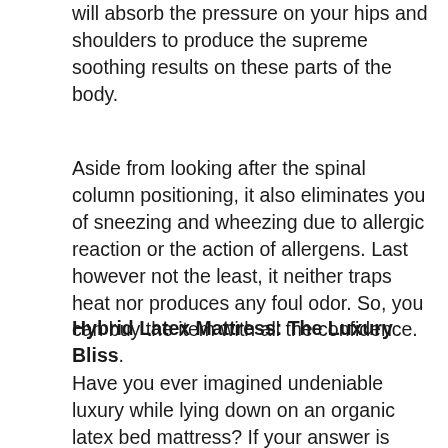will absorb the pressure on your hips and shoulders to produce the supreme soothing results on these parts of the body.
Aside from looking after the spinal column positioning, it also eliminates you of sneezing and wheezing due to allergic reaction or the action of allergens. Last however not the least, it neither traps heat nor produces any foul odor. So, you can buy the item with all the confidence.
Hybrid Latex Mattress: The Luxury Bliss.
Have you ever imagined undeniable luxury while lying down on an organic latex bed mattress? If your answer is yes, then